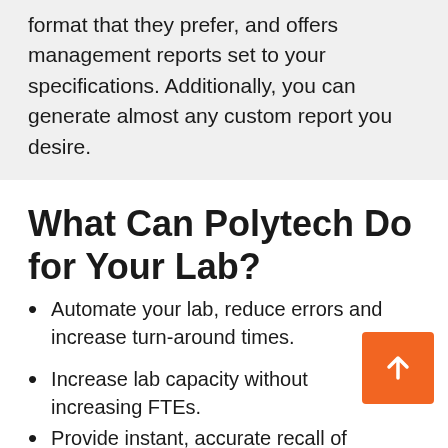format that they prefer, and offers management reports set to your specifications. Additionally, you can generate almost any custom report you desire.
What Can Polytech Do for Your Lab?
Automate your lab, reduce errors and increase turn-around times.
Increase lab capacity without increasing FTEs.
Provide instant, accurate recall of